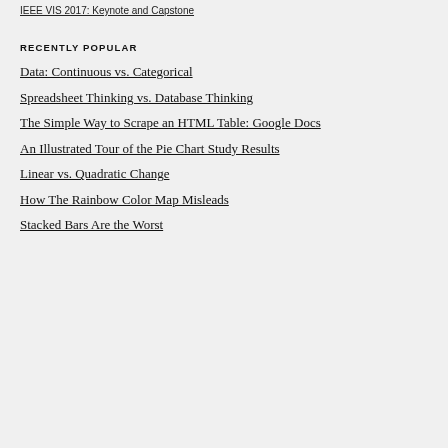IEEE VIS 2017: Keynote and Capstone
RECENTLY POPULAR
Data: Continuous vs. Categorical
Spreadsheet Thinking vs. Database Thinking
The Simple Way to Scrape an HTML Table: Google Docs
An Illustrated Tour of the Pie Chart Study Results
Linear vs. Quadratic Change
How The Rainbow Color Map Misleads
Stacked Bars Are the Worst